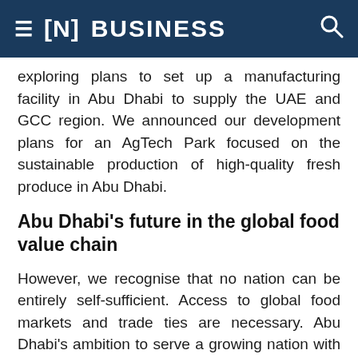≡ [N] BUSINESS 🔍
exploring plans to set up a manufacturing facility in Abu Dhabi to supply the UAE and GCC region. We announced our development plans for an AgTech Park focused on the sustainable production of high-quality fresh produce in Abu Dhabi.
Abu Dhabi's future in the global food value chain
However, we recognise that no nation can be entirely self-sufficient. Access to global food markets and trade ties are necessary. Abu Dhabi's ambition to serve a growing nation with locally sourced food provides the optimal opportunity to demonstrate leadership at a